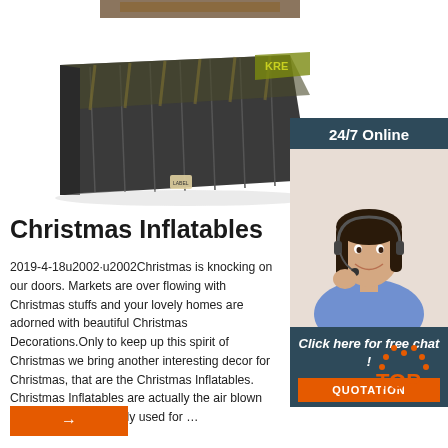[Figure (photo): Product photo of an inflatable ramp/wedge shaped item with dark grey/black covering and camouflage pattern stripes]
[Figure (photo): 24/7 Online customer support panel showing a woman with headset smiling, with dark teal background and orange QUOTATION button]
Christmas Inflatables
2019-4-18u2002·u2002Christmas is knocking on our doors. Markets are over flowing with Christmas stuffs and your lovely homes are adorned with beautiful Christmas Decorations.Only to keep up this spirit of Christmas we bring another interesting decor for Christmas, that are the Christmas Inflatables. Christmas Inflatables are actually the air blown things which are widely used for ...
[Figure (logo): Orange TOP badge/button with dotted arc above text]